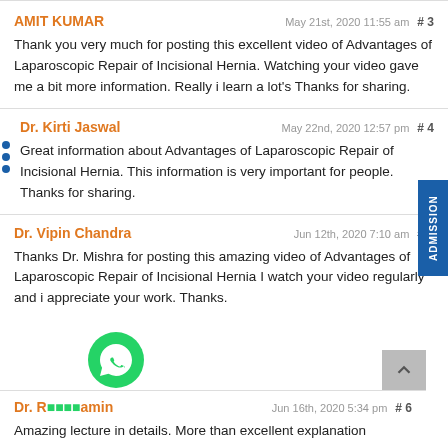AMIT KUMAR — May 21st, 2020 11:55 am — #3
Thank you very much for posting this excellent video of Advantages of Laparoscopic Repair of Incisional Hernia. Watching your video gave me a bit more information. Really i learn a lot's Thanks for sharing.
Dr. Kirti Jaswal — May 22nd, 2020 12:57 pm — #4
Great information about Advantages of Laparoscopic Repair of Incisional Hernia. This information is very important for people. Thanks for sharing.
Dr. Vipin Chandra — Jun 12th, 2020 7:10 am — #5
Thanks Dr. Mishra for posting this amazing video of Advantages of Laparoscopic Repair of Incisional Hernia I watch your video regularly and i appreciate your work. Thanks.
Dr. [obscured] amin — Jun 16th, 2020 5:34 pm — #6
Amazing lecture in details. More than excellent explanation